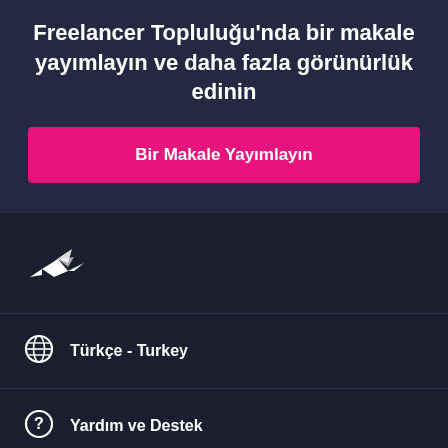Freelancer Topluluğu'nda bir makale yayımlayın ve daha fazla görünürlük edinin
Bir Makale Yayımlayın
[Figure (logo): Freelancer hummingbird logo in white]
Türkçe - Turkey
Yardım ve Destek
Freelancer